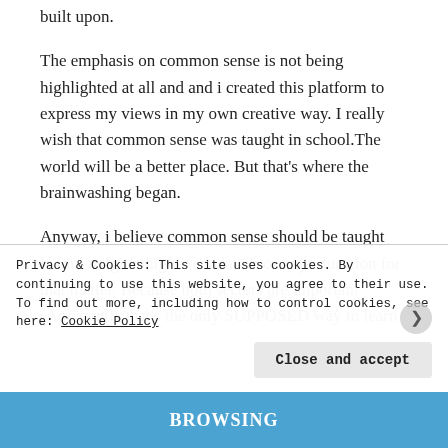built upon.
The emphasis on common sense is not being highlighted at all and and i created this platform to express my views in my own creative way. I really wish that common sense was taught in school.The world will be a better place. But that’s where the brainwashing began.
Anyway, i believe common sense should be taught before religion/higher education or any education for that matter. Because both sectors are important (Apparently,that’s the only SUPPOSED way to learn
Privacy & Cookies: This site uses cookies. By continuing to use this website, you agree to their use.
To find out more, including how to control cookies, see here: Cookie Policy
Close and accept